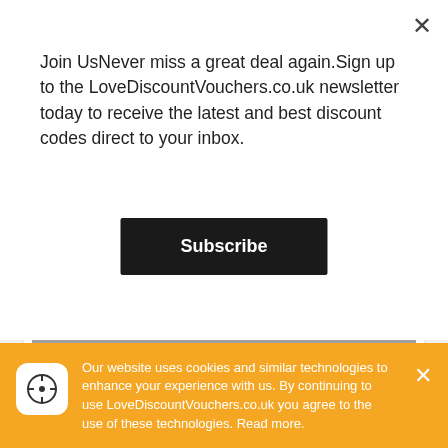Join UsNever miss a great deal again.Sign up to the LoveDiscountVouchers.co.uk newsletter today to receive the latest and best discount codes direct to your inbox.
Subscribe
Get Offer →
Expired 13 March 2022   Terms ∨
Popular LALO Tactical Discount Codes for August 2022
Offer
Our website uses cookies and similar technologies to enhance your experience with us. By continuing to use LoveDiscountVouchers.co.uk you agree to the use of these technologies. Read more.